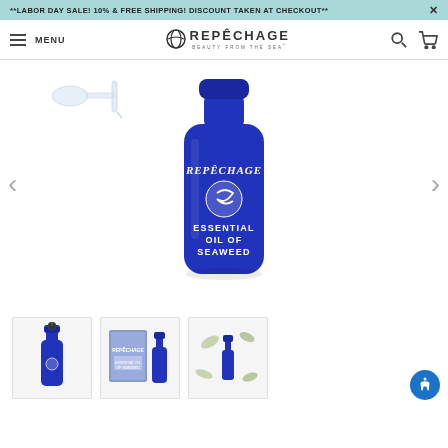**LABOR DAY SALE! 10% & FREE SHIPPING! DISCOUNT TAKEN AT CHECKOUT**
[Figure (screenshot): Repechage website navigation bar with hamburger menu, MENU text, Repechage logo with tagline BEAUTY FROM THE SEA, search icon, and cart icon]
[Figure (photo): Main product photo: Repechage Essential Oil of Seaweed in a blue glass bottle with dropper. Bottle label shows REPECHAGE logo, swirl symbol, and text ESSENTIAL OIL OF SEAWEED. A glass dropper is shown to the upper left. Navigation arrows on left and right sides.]
[Figure (photo): Thumbnail 1: Small Repechage Essential Oil of Seaweed blue bottle with dropper]
[Figure (photo): Thumbnail 2: Repechage Essential Oil of Seaweed product shown with box packaging and small bottle]
[Figure (photo): Thumbnail 3: Repechage Essential Oil of Seaweed product with leaf/botanical elements on white background]